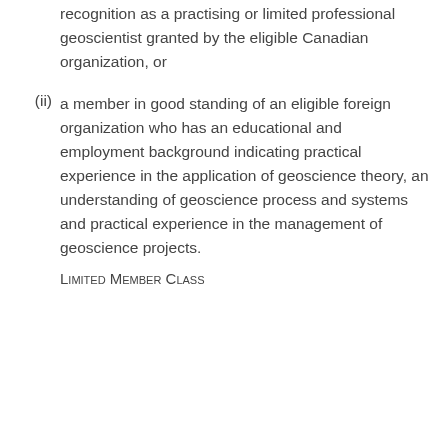recognition as a practising or limited professional geoscientist granted by the eligible Canadian organization, or
(ii) a member in good standing of an eligible foreign organization who has an educational and employment background indicating practical experience in the application of geoscience theory, an understanding of geoscience process and systems and practical experience in the management of geoscience projects.
Limited Member Class